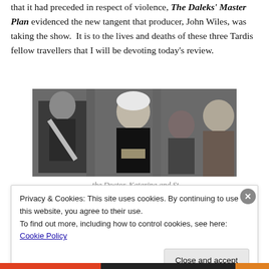that it had preceded in respect of violence, The Daleks' Master Plan evidenced the new tangent that producer, John Wiles, was taking the show.  It is to the lives and deaths of these three Tardis fellow travellers that I will be devoting today's review.
[Figure (photo): Black and white photo showing four people: a man in military uniform on the left, an elderly white-haired man in the centre holding a small object and looking down, a dark-haired woman behind him, and a younger man on the right.]
... the Doctor, Katarina and St...
Privacy & Cookies: This site uses cookies. By continuing to use this website, you agree to their use.
To find out more, including how to control cookies, see here: Cookie Policy
Close and accept